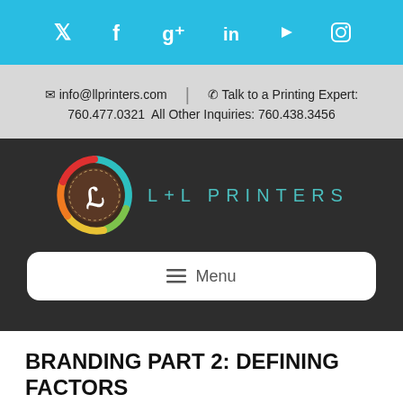Social media icons: Twitter, Facebook, Google+, LinkedIn, YouTube, Instagram
✉ info@llprinters.com  |  ☏ Talk to a Printing Expert: 760.477.0321  All Other Inquiries: 760.438.3456
[Figure (logo): L+L Printers logo: circular multicolor swirl (teal, green, yellow, orange, red) around a dark brown circle with white stylized 'L' letterform, next to teal uppercase spaced text 'L+L PRINTERS']
☰ Menu
BRANDING PART 2: DEFINING FACTORS
In our last